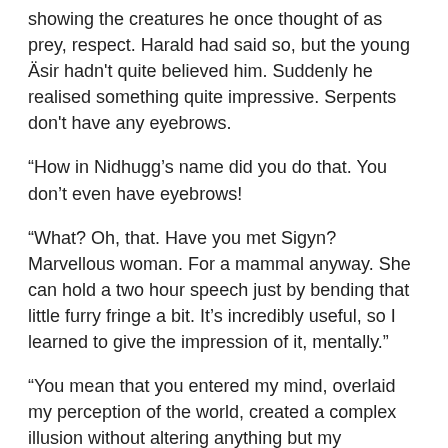showing the creatures he once thought of as prey, respect. Harald had said so, but the young Äsir hadn't quite believed him. Suddenly he realised something quite impressive. Serpents don't have any eyebrows.
“How in Nidhugg’s name did you do that. You don’t even have eyebrows!
“What? Oh, that. Have you met Sigyn? Marvellous woman. For a mammal anyway. She can hold a two hour speech just by bending that little furry fringe a bit. It’s incredibly useful, so I learned to give the impression of it, mentally.”
“You mean that you entered my mind, overlaid my perception of the world, created a complex illusion without altering anything but my emotional response to visual stimuli, just to drive home a point with maximal snarkiness?”